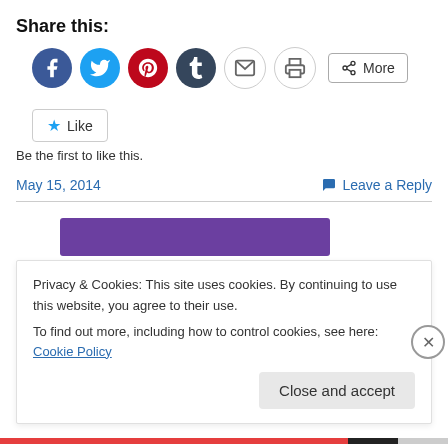Share this:
[Figure (infographic): Row of social sharing icon buttons: Facebook (blue circle), Twitter (light blue circle), Pinterest (red circle), Tumblr (dark blue circle), Email (grey circle), Print (grey circle), and a More button]
[Figure (infographic): Like button with star icon]
Be the first to like this.
May 15, 2014    Leave a Reply
[Figure (photo): Partial image showing a purple horizontal bar/object against white background]
Privacy & Cookies: This site uses cookies. By continuing to use this website, you agree to their use.
To find out more, including how to control cookies, see here: Cookie Policy